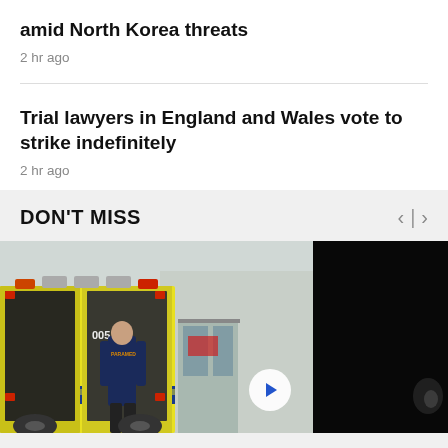amid North Korea threats
2 hr ago
Trial lawyers in England and Wales vote to strike indefinitely
2 hr ago
DON'T MISS
[Figure (photo): Paramedic standing at back of open ambulance (unit 0051) at hospital entrance]
[Figure (photo): Dark/night scene, partially visible image on right side]